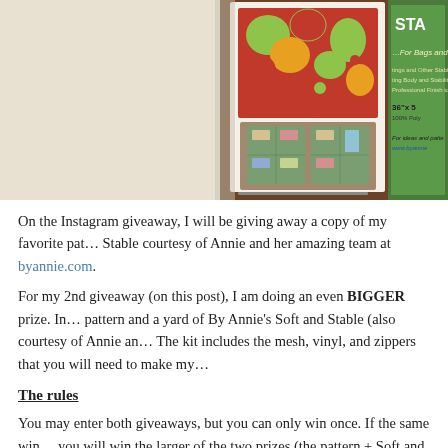[Figure (photo): A photo showing a By Annie sewing pattern booklet and a package of By Annie's Soft and Stable stabilizer product on a wooden surface. The pattern shows a floral bag design and the stabilizer product package is visible on the right side.]
On the Instagram giveaway, I will be giving away a copy of my favorite pat... Stable courtesy of Annie and her amazing team at byannie.com.
For my 2nd giveaway (on this post), I am doing an even BIGGER prize. In... pattern and a yard of By Annie's Soft and Stable (also courtesy of Annie an... The kit includes the mesh, vinyl, and zippers that you will need to make my...
The rules
You may enter both giveaways, but you can only win once. If the same win... you will win the larger of the two prizes (the pattern + Soft and Stable + the...
To enter, please leave a comment and tell me either which fabric you migh...